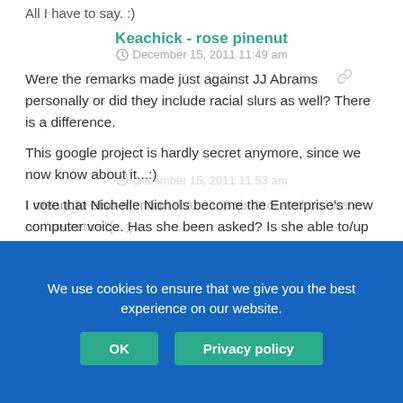All I have to say. :)
Keachick - rose pinenut
December 15, 2011 11:49 am
Were the remarks made just against JJ Abrams personally or did they include racial slurs as well? There is a difference.
This google project is hardly secret anymore, since we now know about it...:)
I vote that Nichelle Nichols become the Enterprise's new computer voice. Has she been asked? Is she able to/up for it?
Keachick - rose pinenut
December 15, 2011 11:53 am
I meant to also mention that JJ, Bob Orci and co. were as "secretive"[...;)
We use cookies to ensure that we give you the best experience on our website.
OK
Privacy policy